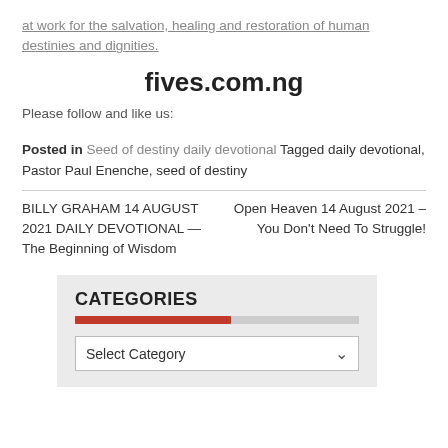at work for the salvation, healing and restoration of human destinies and dignities.
fives.com.ng
Please follow and like us:
Posted in Seed of destiny daily devotional Tagged daily devotional, Pastor Paul Enenche, seed of destiny
BILLY GRAHAM 14 AUGUST 2021 DAILY DEVOTIONAL — The Beginning of Wisdom
Open Heaven 14 August 2021 – You Don't Need To Struggle!
CATEGORIES
Select Category